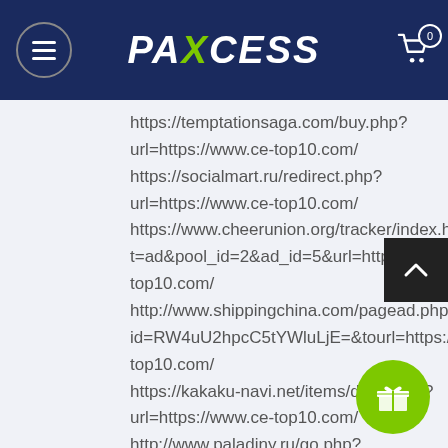PAXCESS
https://temptationsaga.com/buy.php?url=https://www.ce-top10.com/
https://socialmart.ru/redirect.php?url=https://www.ce-top10.com/
https://www.cheerunion.org/tracker/index.html?t=ad&pool_id=2&ad_id=5&url=https://www.ce-top10.com/
http://www.shippingchina.com/pagead.php?id=RW4uU2hpcC5tYWluLjE=&tourl=https://www.ce-top10.com/
https://kakaku-navi.net/items/detail.php?url=https://www.ce-top10.com/
http://www.paladiny.ru/go.php?url=https://www.ce-top10.com/
http://tido.al/vazhdo.php?url=https://www.ce-top10.com/